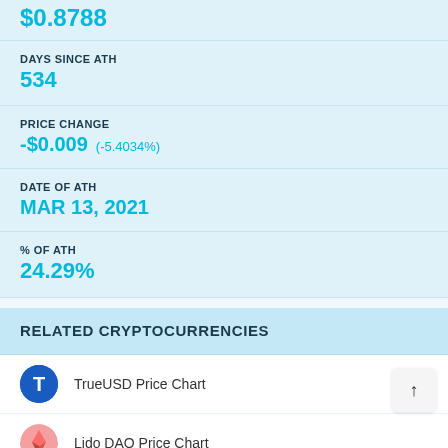$0.8788
DAYS SINCE ATH
534
PRICE CHANGE
-$0.009 (-5.4034%)
DATE OF ATH
MAR 13, 2021
% OF ATH
24.29%
RELATED CRYPTOCURRENCIES
TrueUSD Price Chart
Lido DAO Price Chart
Bitcoin SV Price Chart